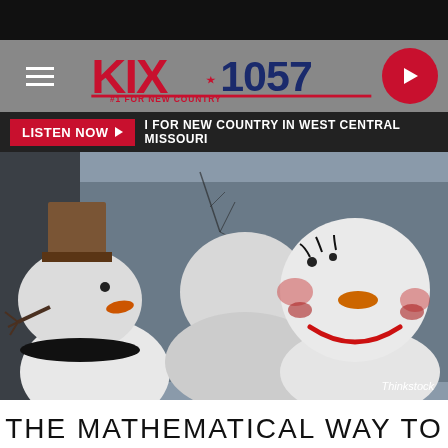[Figure (logo): KIX 105.7 #1 For New Country radio station logo with hamburger menu and play button]
LISTEN NOW ▶  I FOR NEW COUNTRY IN WEST CENTRAL MISSOURI
[Figure (photo): Three snowmen with decorative faces photographed outdoors in winter. One faces away showing a bucket hat, others face forward with carrot noses and colorful decorations.]
Thinkstock
THE MATHEMATICAL WAY TO